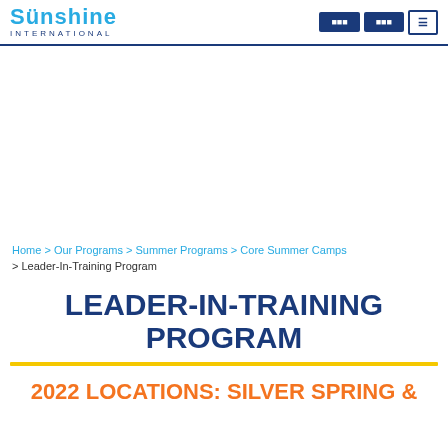Sunshine International
Home > Our Programs > Summer Programs > Core Summer Camps > Leader-In-Training Program
LEADER-IN-TRAINING PROGRAM
2022 LOCATIONS: SILVER SPRING &